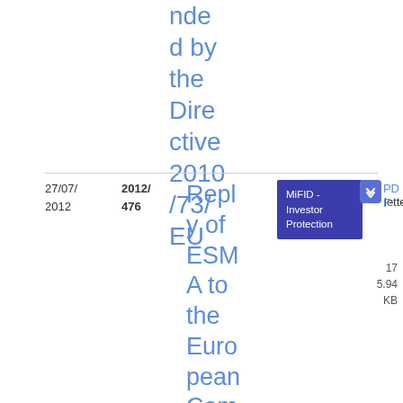nded by the Directive 2010/73/EU
| Date | Ref | Title | Tag | File |
| --- | --- | --- | --- | --- |
| 27/07/2012 | 2012/476 | Reply of ESMA to the European Commission's Green Pape… | MiFID - Investor Protection | PDF 175.94 KB |